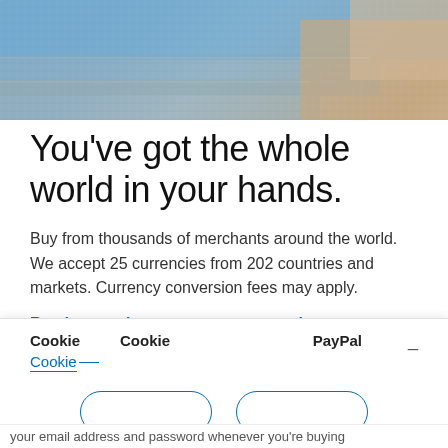[Figure (photo): Photo of folded fabric/clothing items in blue, grey, and brown tones stacked together]
You've got the whole world in your hands.
Buy from thousands of merchants around the world. We accept 25 currencies from 202 countries and markets. Currency conversion fees may apply.
Read more about currency conversion
Cookie  Cookie  PayPal  _
Cookie __
your email address and password whenever you're buying